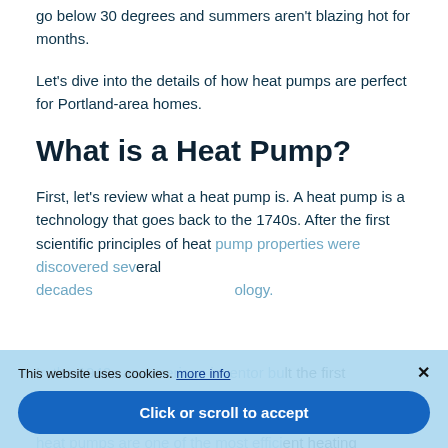go below 30 degrees and summers aren't blazing hot for months.
Let's dive into the details of how heat pumps are perfect for Portland-area homes.
What is a Heat Pump?
First, let's review what a heat pump is. A heat pump is a technology that goes back to the 1740s. After the first scientific principles of heat pump properties were discovered several decades later, this technology...
In the 1940s an American inventor built the first ... at pumps have ... not burn fuel, heat pumps are one of the most efficient heating
This website uses cookies. more info
Click or scroll to accept